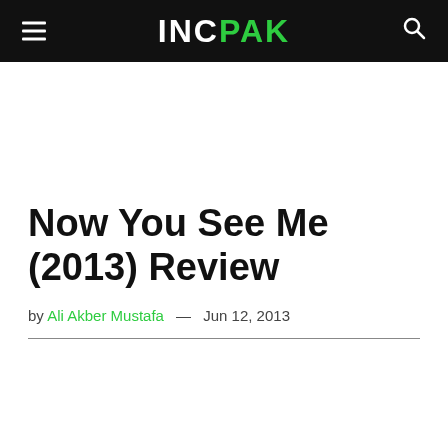INCPAK
Now You See Me (2013) Review
by Ali Akber Mustafa — Jun 12, 2013